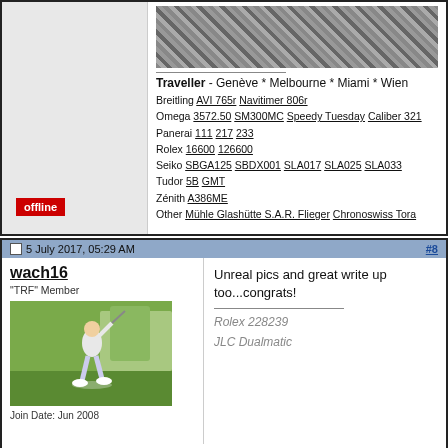[Figure (photo): Close-up photo of a watch bracelet/mesh strap with diagonal stripe pattern in dark grey and lighter grey]
Traveller - Genève * Melbourne * Miami * Wien
Breitling AVI 765r Navitimer 806r
Omega 3572.50 SM300MC Speedy Tuesday Caliber 321
Panerai 111 217 233
Rolex 16600 126600
Seiko SBGA125 SBDX001 SLA017 SLA025 SLA033
Tudor 5B GMT
Zénith A386ME
Other Mühle Glashütte S.A.R. Flieger Chronoswiss Tora
offline
5 July 2017, 05:29 AM
#8
wach16
"TRF" Member
[Figure (photo): Avatar photo of a person swinging a golf club on a golf course]
Join Date: Jun 2008
Unreal pics and great write up too...congrats!
Rolex 228239
JLC Dualmatic